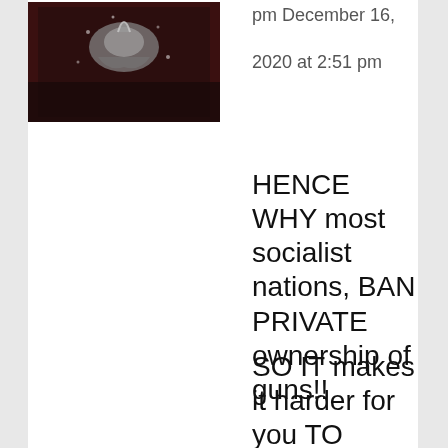[Figure (photo): Avatar/profile image showing a bird or animal on a dark background]
pm December 16, 2020 at 2:51 pm
HENCE WHY most socialist nations, BAN PRIVATE ownership of guns!!
SO IT makes it harder for you TO FIGHT YOUR